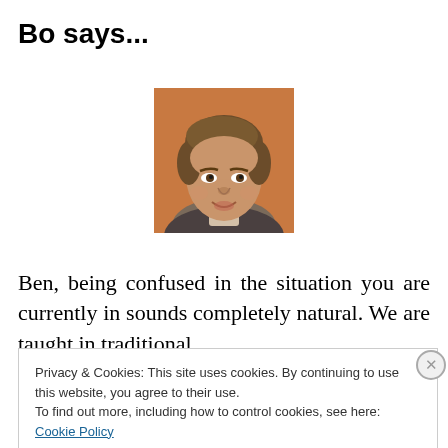Bo says...
[Figure (photo): Headshot of a young man with brown wavy hair, wearing a dark blazer, smiling, against an orange/brown background]
Ben, being confused in the situation you are currently in sounds completely natural. We are taught in traditional
Privacy & Cookies: This site uses cookies. By continuing to use this website, you agree to their use.
To find out more, including how to control cookies, see here: Cookie Policy
Close and accept